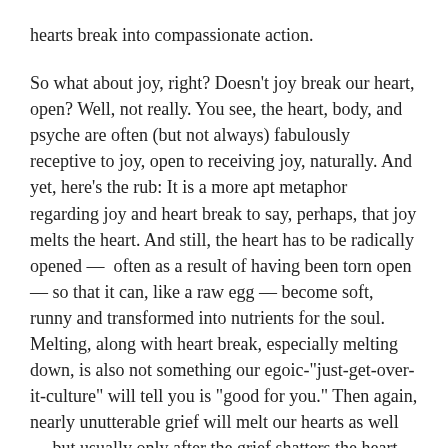hearts break into compassionate action.
So what about joy, right? Doesn't joy break our heart, open? Well, not really. You see, the heart, body, and psyche are often (but not always) fabulously receptive to joy, open to receiving joy, naturally. And yet, here's the rub: It is a more apt metaphor regarding joy and heart break to say, perhaps, that joy melts the heart. And still, the heart has to be radically opened —  often as a result of having been torn open — so that it can, like a raw egg — become soft, runny and transformed into nutrients for the soul. Melting, along with heart break, especially melting down, is also not something our egoic-"just-get-over-it-culture" will tell you is "good for you." Then again, nearly unutterable grief will melt our hearts as well — but usually only after the grief shatters the heart into kaleidoscopic shards, like the shell of the life-giving egg.
The heartbreak and ensuing grief induced by loss of loved ones, beloveds, health, work, homes, capacities we once had but have no longer, for example, is enormously powerful as it tends to be wildly psychologically transformative by way of